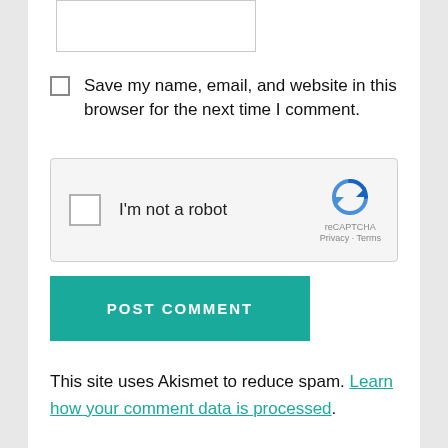[Figure (screenshot): Text input field (partially visible at top)]
Save my name, email, and website in this browser for the next time I comment.
[Figure (screenshot): reCAPTCHA widget with checkbox labeled 'I'm not a robot' and reCAPTCHA logo with Privacy and Terms links]
POST COMMENT
This site uses Akismet to reduce spam. Learn how your comment data is processed.